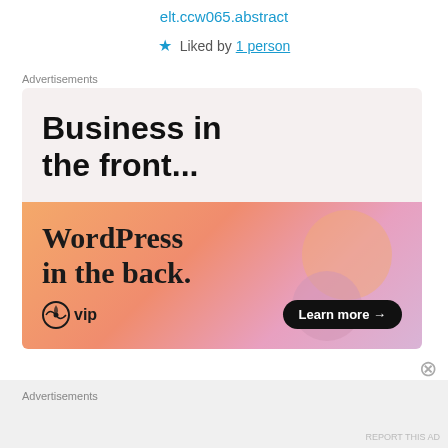elt.ccw065.abstract
★ Liked by 1 person
Advertisements
[Figure (illustration): WordPress VIP advertisement. Top half on light pink/cream background: 'Business in the front...' in large bold sans-serif. Bottom half on orange-pink gradient background: 'WordPress in the back.' in large bold serif font, with WordPress VIP logo and 'Learn more →' button.]
Advertisements